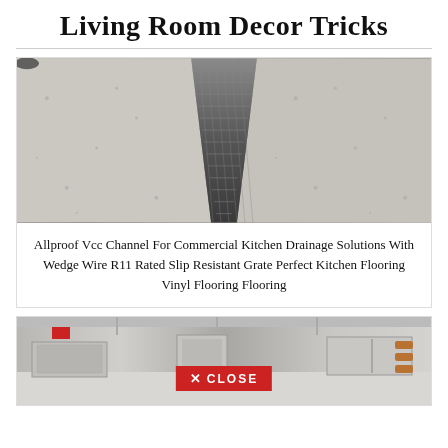Living Room Decor Tricks
[Figure (photo): Close-up photo of a linear drainage channel with wedge wire grate installed in a speckled gray commercial kitchen floor]
Allproof Vcc Channel For Commercial Kitchen Drainage Solutions With Wedge Wire R11 Rated Slip Resistant Grate Perfect Kitchen Flooring Vinyl Flooring Flooring
[Figure (photo): Photo of commercial kitchen interior with stainless steel equipment and a red CLOSE button overlay at the bottom center]